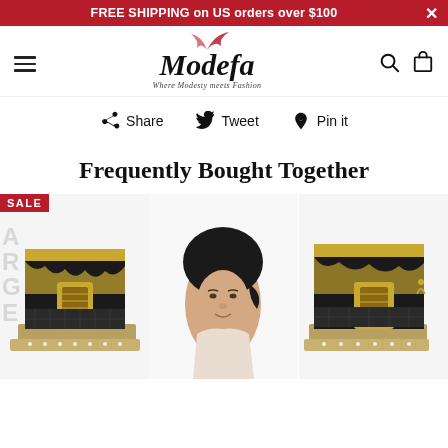FREE SHIPPING on US orders over $100
[Figure (logo): Modefa logo — cursive script with feather accent, tagline 'Where Modesty meets Fashion']
Share   Tweet   Pin it
Frequently Bought Together
[Figure (photo): SALE badge product: decorative Kaaba model box, black and gold]
[Figure (photo): Woman wearing black under-scarf hijab cap]
[Figure (photo): Decorative Kaaba model box, black and gold, partially visible on right edge]